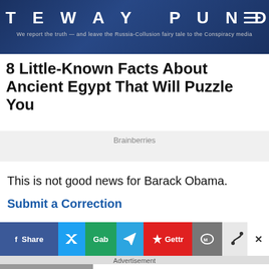GATEWAY PUNDIT — We report the truth — and leave the Russia-Collusion fairy tale to the Conspiracy media
8 Little-Known Facts About Ancient Egypt That Will Puzzle You
Brainberries
This is not good news for Barack Obama.
Submit a Correction
[Figure (screenshot): Social share buttons: Facebook Share, Twitter, Gab, Telegram, Gettr, MeWe, and another button, with an X close button]
Advertisement
[Figure (photo): A man sitting outdoors leaning against a brick wall]
This Guy Photoshopped Himself Into Celeb Pics And It's Hysterical
Brainberries